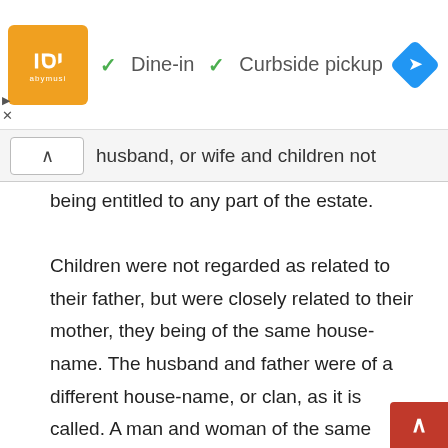[Figure (screenshot): Top advertisement bar showing a restaurant logo (orange square with stylized text), checkmarks for 'Dine-in' and 'Curbside pickup', and a blue navigation diamond icon on the right.]
husband, or wife and children not being entitled to any part of the estate.
Children were not regarded as related to their father, but were closely related to their mother, they being of the same house-name. The husband and father were of a different house-name, or clan, as it is called. A man and woman of the same house-name were not allowed to marry, hence they considered the children related only to the mother and not to the father. If a man married a woman who had several sisters, he had a perfect right to marry them all, and live with the